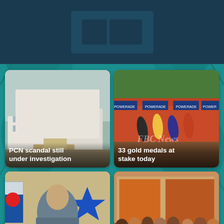[Figure (other): News app header with dark teal background and logo area]
[Figure (photo): Photo of white multi-story housing buildings under cloudy sky]
PCN scandal still under investigation
[Figure (photo): Athletics race at a stadium with runners on a red track, Powerade advertising boards, FBC News watermark]
33 gold medals at stake today
[Figure (photo): Man in blue patterned shirt in front of a SODELPA party flag/banner]
SODELPA not to be financially influenced: Gavoka
[Figure (photo): Group of villagers sitting and standing, holding pink papers/documents]
Niurua villagers handed ownership of SHS